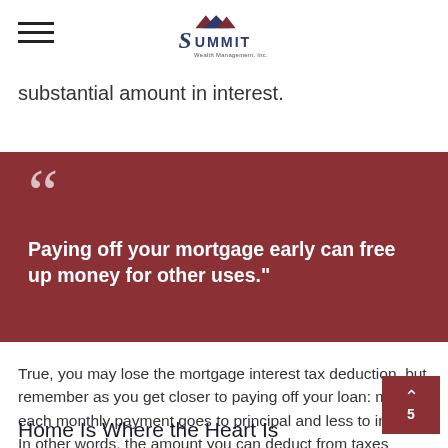Summit Wealth Management, Inc.
substantial amount in interest.
"Paying off your mortgage early can free up money for other uses."
True, you may lose the mortgage interest tax deduction, but remember as you get closer to paying off your loan: more of each monthly payment goes to principal and less to interest. In other words, the amount you can deduct from taxes decreases.
Home Is Where the Heart Is